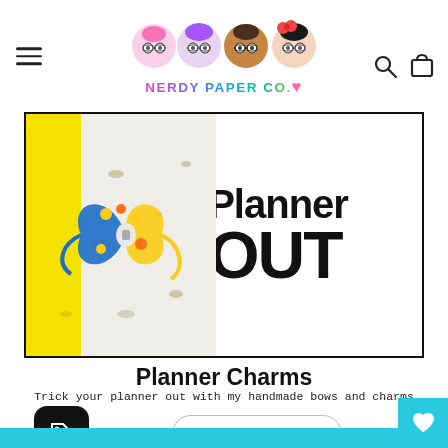[Figure (logo): Nerdy Paper Co. logo with cartoon characters and colorful text]
[Figure (illustration): Planner OUT banner with a colorful bow/charm and yellow accent, black border]
Planner Charms
Trick your planner out with my handmade bows and charms
[Figure (illustration): Black rounded square tag icon]
SHOP NOW